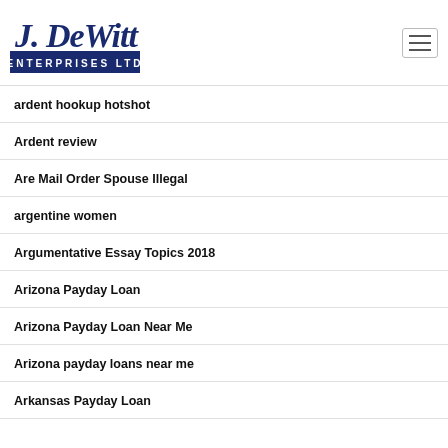[Figure (logo): J. DeWitt Enterprises Ltd logo in dark blue with stylized script and block letters]
ardent hookup hotshot
Ardent review
Are Mail Order Spouse Illegal
argentine women
Argumentative Essay Topics 2018
Arizona Payday Loan
Arizona Payday Loan Near Me
Arizona payday loans near me
Arkansas Payday Loan